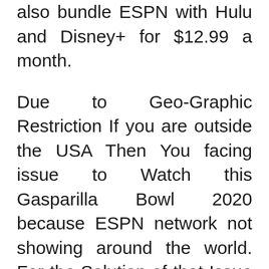also bundle ESPN with Hulu and Disney+ for $12.99 a month.
Due to Geo-Graphic Restriction If you are outside the USA Then You facing issue to Watch this Gasparilla Bowl 2020 because ESPN network not showing around the world. For the Solution of that Issue is Recommend you to Use a Good VPN services likes of ExpressVPN etc.
Good VPN Services which help you